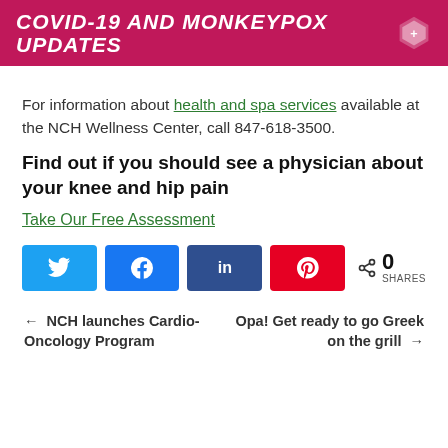COVID-19 AND MONKEYPOX UPDATES
For information about health and spa services available at the NCH Wellness Center, call 847-618-3500.
Find out if you should see a physician about your knee and hip pain
Take Our Free Assessment
[Figure (infographic): Social share buttons: Twitter, Facebook, LinkedIn, Pinterest, and a share count showing 0 SHARES]
← NCH launches Cardio-Oncology Program
Opa! Get ready to go Greek on the grill →